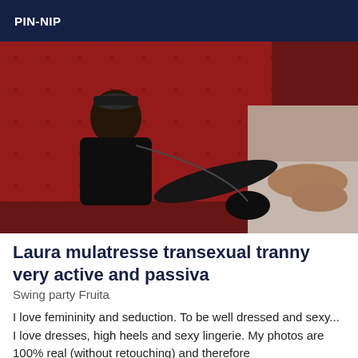PIN-NIP
[Figure (photo): A person in black lingerie and a cap posing on a red surface with another person's legs visible in the background]
Laura mulatresse transexual tranny very active and passiva
Swing party Fruita
I love femininity and seduction. To be well dressed and sexy... I love dresses, high heels and sexy lingerie. My photos are 100% real (without retouching) and therefore